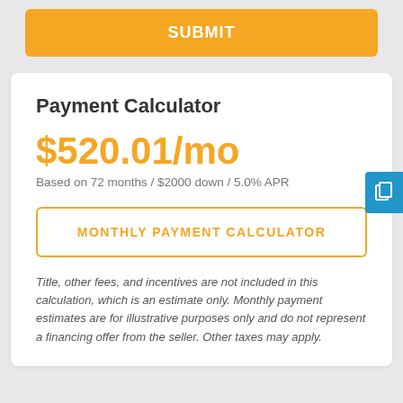SUBMIT
Payment Calculator
$520.01/mo
Based on 72 months / $2000 down / 5.0% APR
MONTHLY PAYMENT CALCULATOR
Title, other fees, and incentives are not included in this calculation, which is an estimate only. Monthly payment estimates are for illustrative purposes only and do not represent a financing offer from the seller. Other taxes may apply.